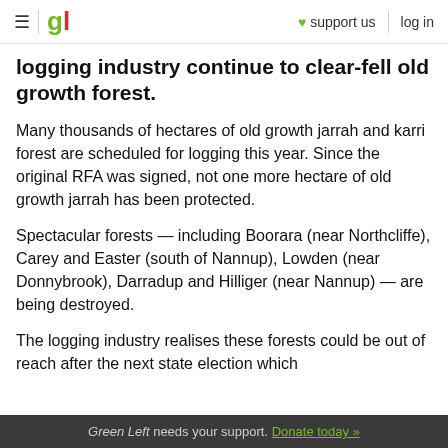gl | ♥ support us | log in
logging industry continue to clear-fell old growth forest.
Many thousands of hectares of old growth jarrah and karri forest are scheduled for logging this year. Since the original RFA was signed, not one more hectare of old growth jarrah has been protected.
Spectacular forests — including Boorara (near Northcliffe), Carey and Easter (south of Nannup), Lowden (near Donnybrook), Darradup and Hilliger (near Nannup) — are being destroyed.
The logging industry realises these forests could be out of reach after the next state election which
Green Left needs your support. Donate today »